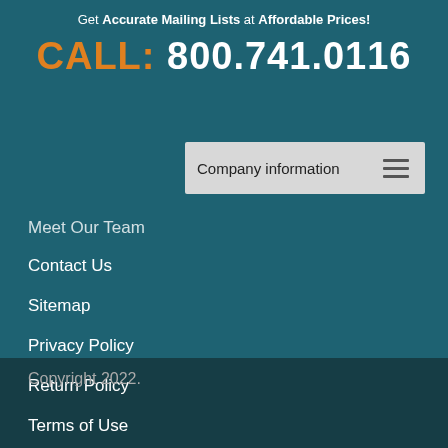Get Accurate Mailing Lists at Affordable Prices!
CALL: 800.741.0116
Company information
Meet Our Team
Contact Us
Sitemap
Privacy Policy
Return Policy
Terms of Use
Copyright 2022.